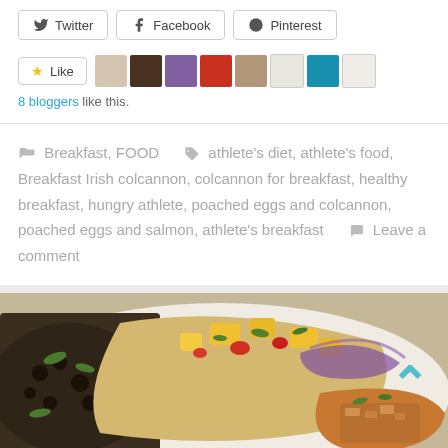[Figure (other): Social share buttons: Twitter, Facebook, Pinterest]
[Figure (other): Like button with 8 blogger avatars]
8 bloggers like this.
Breakfast, FOOD   athlete's diet, athlete's food, Breakfast Irish colcannon, colcannon for breakfast, healthy breakfast, hungry athlete, poached eggs and colcannon, poached eggs and salmon, athlete's breakfast   Leave a comment
[Figure (photo): Food photo showing tacos with mango salsa and black beans on a plate]